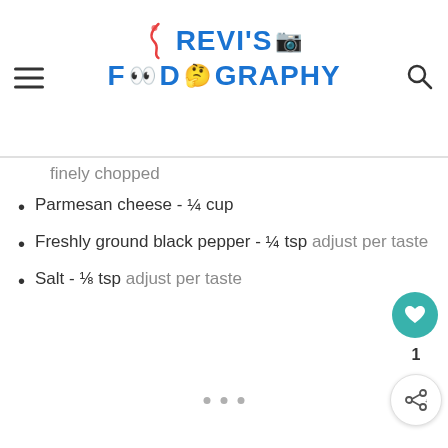Srevi's Foodography
finely chopped
Parmesan cheese - ¼ cup
Freshly ground black pepper - ¼ tsp adjust per taste
Salt - ⅛ tsp adjust per taste